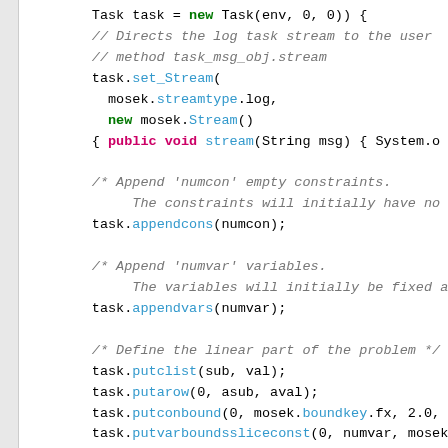[Figure (screenshot): Java source code snippet showing MOSEK API usage: creating a Task, setting stream, appending constraints and variables, defining linear problem parts, and adding conic/power cone constraints.]